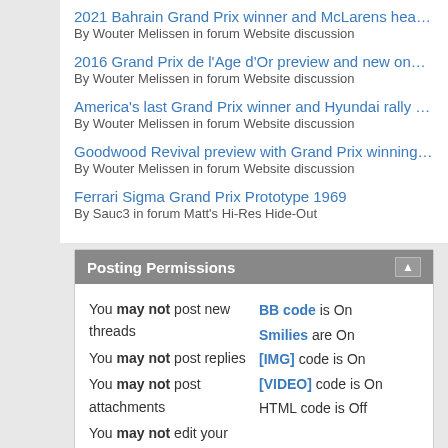2021 Bahrain Grand Prix winner and McLarens headed for auction...
By Wouter Melissen in forum Website discussion
2016 Grand Prix de l'Age d'Or preview and new one-off Ferrari ...
By Wouter Melissen in forum Website discussion
America's last Grand Prix winner and Hyundai rally rocket ...
By Wouter Melissen in forum Website discussion
Goodwood Revival preview with Grand Prix winning Ferrari and BR...
By Wouter Melissen in forum Website discussion
Ferrari Sigma Grand Prix Prototype 1969
By Sauc3 in forum Matt's Hi-Res Hide-Out
Posting Permissions
| You may not post new threads | BB code is On |
| You may not post replies | Smilies are On |
| You may not post attachments | [IMG] code is On |
| You may not edit your posts | [VIDEO] code is On |
|  | HTML code is Off |
|  | Forum Rules |
-- vB4 Default Style    Contact Us  Ultimatecarpage.co...
All times are GMT -7. The time now is 06:...